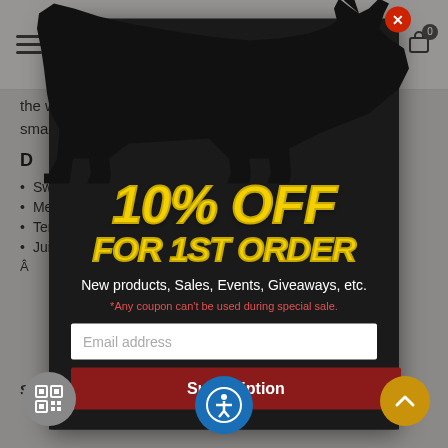WAGYUMAN
the whole cattle for various dishes. Ideal for sharing with small size parties or family dinners.
D...
Swee...
Meaty...
Tender...
Juicy and...
[Figure (infographic): Popup modal with black cow silhouette, showing a 10% OFF FOR 1ST ORDER promotion with email subscription form. Yellow outlined bold italic text '10% OFF' and 'FOR 1ST ORDER' on dark background. Description text: New products, Sales, Events, Giveaways, etc. Note: *Any coupon can't be used during special sale. Email address input field and red Subscription button.]
Shipping Condition: Frozen